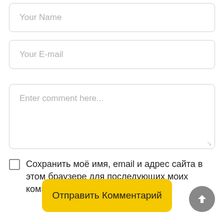[Figure (screenshot): Text input field with placeholder 'Your Name']
[Figure (screenshot): Text input field with placeholder 'Your E-mail']
[Figure (screenshot): Textarea with placeholder 'Enter comment here...']
Сохранить моё имя, email и адрес сайта в этом браузере для последующих моих комментариев.
Отправить Комментарий